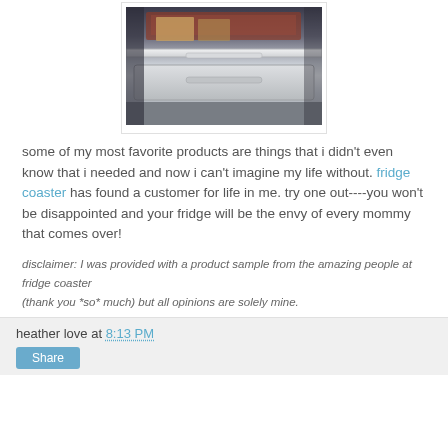[Figure (photo): Photo of inside of a refrigerator showing shelves and a drawer with items]
some of my most favorite products are things that i didn't even know that i needed and now i can't imagine my life without. fridge coaster has found a customer for life in me. try one out----you won't be disappointed and your fridge will be the envy of every mommy that comes over!
disclaimer: I was provided with a product sample from the amazing people at fridge coaster (thank you *so* much) but all opinions are solely mine.
heather love at 8:13 PM